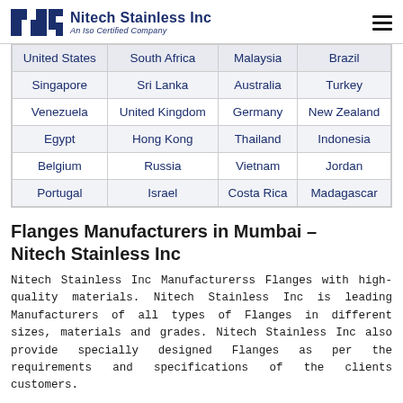Nitech Stainless Inc – An Iso Certified Company
| United States | South Africa | Malaysia | Brazil |
| --- | --- | --- | --- |
| Singapore | Sri Lanka | Australia | Turkey |
| Venezuela | United Kingdom | Germany | New Zealand |
| Egypt | Hong Kong | Thailand | Indonesia |
| Belgium | Russia | Vietnam | Jordan |
| Portugal | Israel | Costa Rica | Madagascar |
Flanges Manufacturers in Mumbai – Nitech Stainless Inc
Nitech Stainless Inc Manufacturerss Flanges with high-quality materials. Nitech Stainless Inc is leading Manufacturers of all types of Flanges in different sizes, materials and grades. Nitech Stainless Inc also provide specially designed Flanges as per the requirements and specifications of the clients customers.